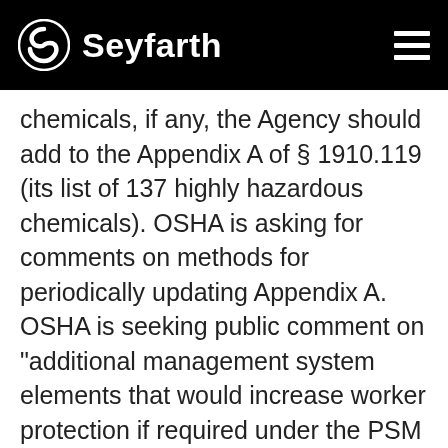Seyfarth
chemicals, if any, the Agency should add to the Appendix A of § 1910.119 (its list of 137 highly hazardous chemicals). OSHA is asking for comments on methods for periodically updating Appendix A. OSHA is seeking public comment on “additional management system elements that would increase worker protection if required under the PSM standard.” OSHA is suggesting that it clarify the PSM Standard by adding a definition for “recognized and generally accepted good engineering practices”. These and many other suggested revisions and updates are detailed in OSHA’s RFI.